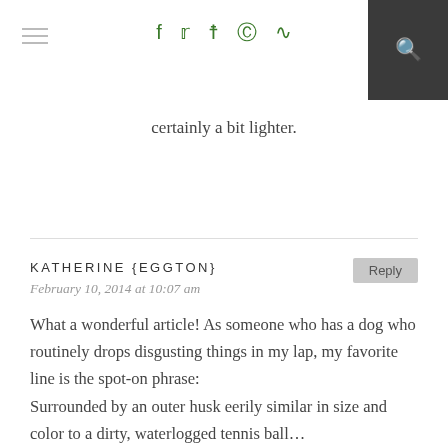Navigation header with hamburger menu, social icons (Facebook, Twitter, Instagram, Pinterest, RSS), and search button
certainly a bit lighter.
KATHERINE {EGGTON}
February 10, 2014 at 10:07 am
What a wonderful article! As someone who has a dog who routinely drops disgusting things in my lap, my favorite line is the spot-on phrase:
Surrounded by an outer husk eerily similar in size and color to a dirty, waterlogged tennis ball…